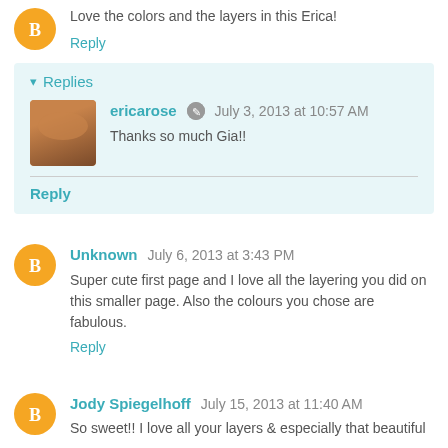Love the colors and the layers in this Erica!
Reply
Replies
ericarose  July 3, 2013 at 10:57 AM
Thanks so much Gia!!
Reply
Unknown  July 6, 2013 at 3:43 PM
Super cute first page and I love all the layering you did on this smaller page. Also the colours you chose are fabulous.
Reply
Jody Spiegelhoff  July 15, 2013 at 11:40 AM
So sweet!! I love all your layers & especially that beautiful